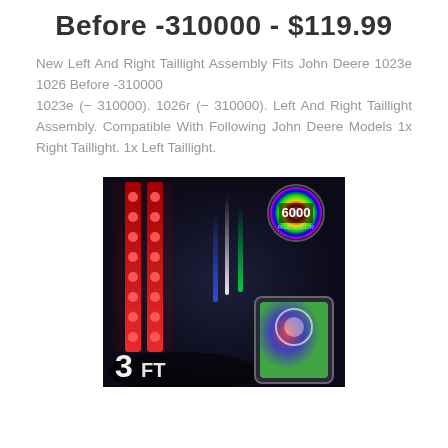Before -310000 - $119.99
New Left And Right Taillight Assembly Fits John Deere 1023e 1026 Before -310000
1023e (- 310000). 1026r (- 310000). Left And Right Taillight Assembly. Compatible With Following John Deere Models 1x Right Taillight. 1x Left Taillight.
[Figure (photo): Product advertisement image showing LED light strips glowing red on left side, colorful light beams (blue, white, green) in center, a smartphone with RGB color wheel app in bottom right, '6000 RGB COLOR' badge in top right corner, and '3 FT' text in bottom left. Dark background suggesting nighttime/outdoor use.]